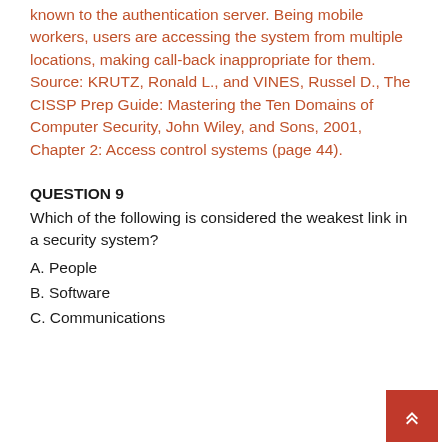known to the authentication server. Being mobile workers, users are accessing the system from multiple locations, making call-back inappropriate for them. Source: KRUTZ, Ronald L., and VINES, Russel D., The CISSP Prep Guide: Mastering the Ten Domains of Computer Security, John Wiley, and Sons, 2001, Chapter 2: Access control systems (page 44).
QUESTION 9
Which of the following is considered the weakest link in a security system?
A. People
B. Software
C. Communications